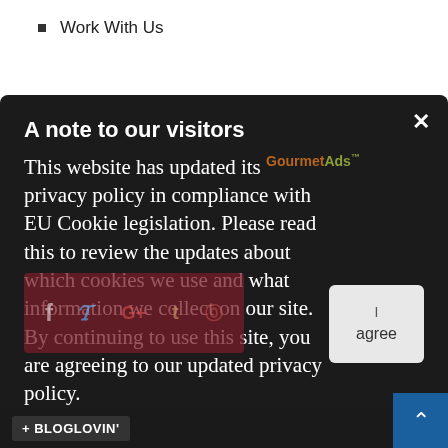Work With Us
A note to our visitors
This website has updated its privacy policy in compliance with EU Cookie legislation. Please read this to review the updates about which cookies we use and what information we collect on our site. By continuing to use this site, you are agreeing to our updated privacy policy.
+ BLOGLOVIN'